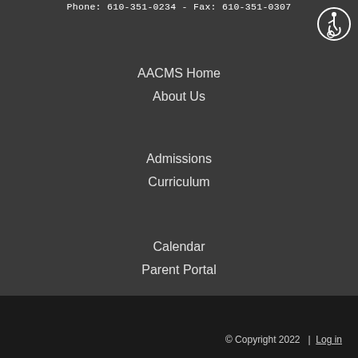Phone: 610-351-0234 - Fax: 610-351-0307
[Figure (illustration): Accessibility icon - wheelchair user symbol in a circle]
AACMS Home
About Us
Admissions
Curriculum
Calendar
Parent Portal
© Copyright 2022   |  Log in